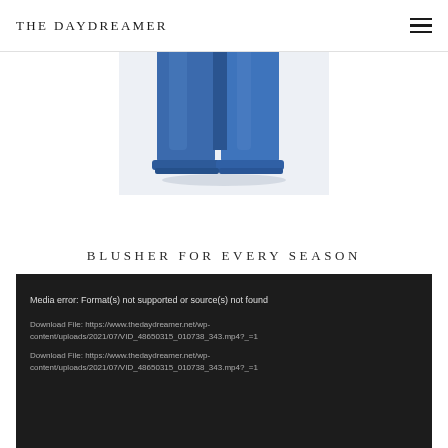THE DAYDREAMER
[Figure (photo): Close-up of the lower legs of wide-leg dark blue denim jeans against a white/light grey background]
BLUSHER FOR EVERY SEASON
Media error: Format(s) not supported or source(s) not found

Download File: https://www.thedaydreamer.net/wp-content/uploads/2021/07/VID_48650315_010738_343.mp4?_=1
Download File: https://www.thedaydreamer.net/wp-content/uploads/2021/07/VID_48650315_010738_343.mp4?_=1